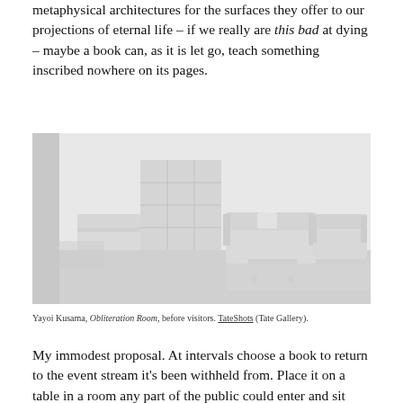metaphysical architectures for the surfaces they offer to our projections of eternal life – if we really are this bad at dying – maybe a book can, as it is let go, teach something inscribed nowhere on its pages.
[Figure (photo): An all-white room installation showing furniture (bookshelves, sofa, chairs, table) all painted or rendered in white, before visitors. Yayoi Kusama's Obliteration Room.]
Yayoi Kusama, Obliteration Room, before visitors. TateShots (Tate Gallery).
My immodest proposal. At intervals choose a book to return to the event stream it's been withheld from. Place it on a table in a room any part of the public could enter and sit down at. Maybe offer foam props, a magnifying glass and gloves, some handout describing how archivists and